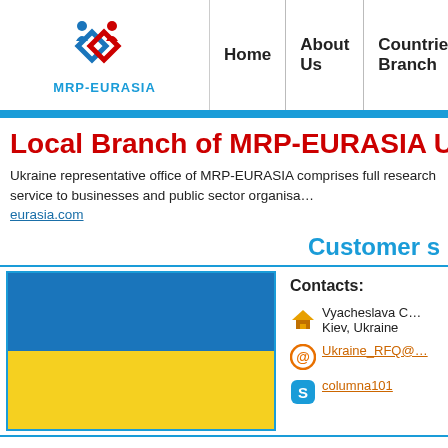[Figure (logo): MRP-EURASIA logo with two figures and diamond shapes in blue and red, text MRP-EURASIA below]
Home | About Us | Countries, Branch
Local Branch of M...
Ukraine representative office of MRP-EURASIA comprises full research service to businesses and public sector organisations. eurasia.com
Customer s...
[Figure (illustration): Ukraine flag with blue top half and yellow bottom half]
Contacts:
Vyacheslava C...
Kiev, Ukraine
Ukraine_RFQ@...
columna101